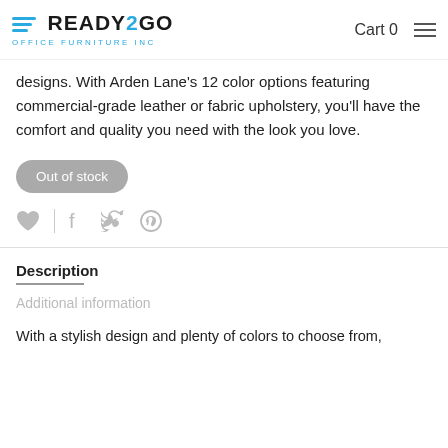READY2GO OFFICE FURNITURE INC | Cart 0
designs. With Arden Lane's 12 color options featuring commercial-grade leather or fabric upholstery, you'll have the comfort and quality you need with the look you love.
Out of stock
[Figure (infographic): Social sharing icons: heart/wishlist, vertical divider, Facebook, Twitter, Pinterest]
Description
Additional information
With a stylish design and plenty of colors to choose from,